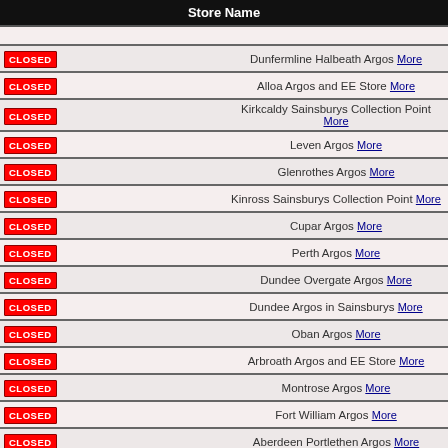| Store Name |
| --- |
| CLOSED | Dunfermline Halbeath Argos More |
| CLOSED | Alloa Argos and EE Store More |
| CLOSED | Kirkcaldy Sainsburys Collection Point More |
| CLOSED | Leven Argos More |
| CLOSED | Glenrothes Argos More |
| CLOSED | Kinross Sainsburys Collection Point More |
| CLOSED | Cupar Argos More |
| CLOSED | Perth Argos More |
| CLOSED | Dundee Overgate Argos More |
| CLOSED | Dundee Argos in Sainsburys More |
| CLOSED | Oban Argos More |
| CLOSED | Arbroath Argos and EE Store More |
| CLOSED | Montrose Argos More |
| CLOSED | Fort William Argos More |
| CLOSED | Aberdeen Portlethen Argos More |
| CLOSED | Aberdeen Garthdee Argos in Sainsburys More |
| CLOSED | St Nicholas Sc Sainsburys Collection More |
| CLOSED | Berryden Road Argos in Sainsburys More |
| CLOSED | Inverurie Argos More |
| CLOSED | Peterhead Argos and EE Store More |
| CLOSED | Inverness Eastfield Way Argos and EE More |